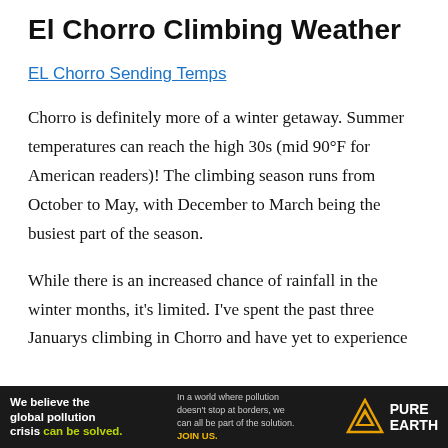El Chorro Climbing Weather
EL Chorro Sending Temps
Chorro is definitely more of a winter getaway. Summer temperatures can reach the high 30s (mid 90°F for American readers)! The climbing season runs from October to May, with December to March being the busiest part of the season.
While there is an increased chance of rainfall in the winter months, it's limited. I've spent the past three Januarys climbing in Chorro and have yet to experience
[Figure (infographic): Advertisement banner: 'We believe the global pollution crisis can be solved.' with Pure Earth logo. Dark background with white and green/yellow text.]